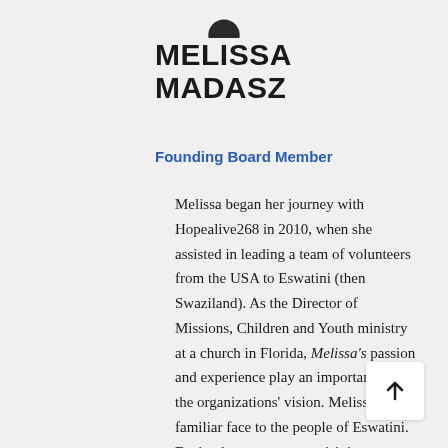[Figure (illustration): Partial circular logo or avatar image at top, cropped at top edge]
MELISSA MADASZ
Founding Board Member
Melissa began her journey with Hopealive268 in 2010, when she assisted in leading a team of volunteers from the USA to Eswatini (then Swaziland). As the Director of Missions, Children and Youth ministry at a church in Florida, Melissa's passion and experience play an important role in the organizations' vision. Melissa is a familiar face to the people of Eswatini. During her most recent visit in September 2019, Melissa spent several weeks with the